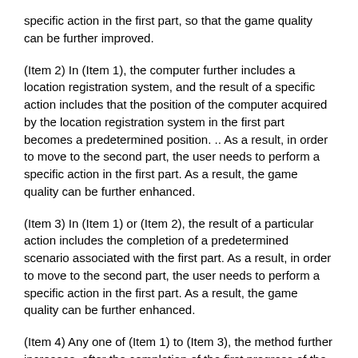specific action in the first part, so that the game quality can be further improved.
(Item 2) In (Item 1), the computer further includes a location registration system, and the result of a specific action includes that the position of the computer acquired by the location registration system in the first part becomes a predetermined position. .. As a result, in order to move to the second part, the user needs to perform a specific action in the first part. As a result, the game quality can be further enhanced.
(Item 3) In (Item 1) or (Item 2), the result of a particular action includes the completion of a predetermined scenario associated with the first part. As a result, in order to move to the second part, the user needs to perform a specific action in the first part. As a result, the game quality can be further enhanced.
(Item 4) Any one of (Item 1) to (Item 3), the method further increases, after the completion of the first progress of the second part by the processor, the second of the second part. The second progress of the second part is executed